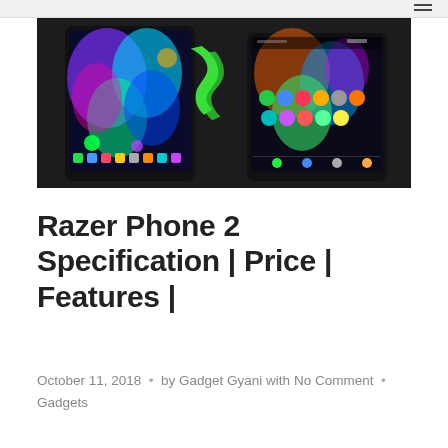[Figure (photo): Two Razer phones displayed on a dark surface showing their colorful gaming-themed displays with the Razer snake logo visible]
Razer Phone 2 Specification | Price | Features |
October 11, 2018  •  by Gadget Gyani with No Comment  •  Gadgets